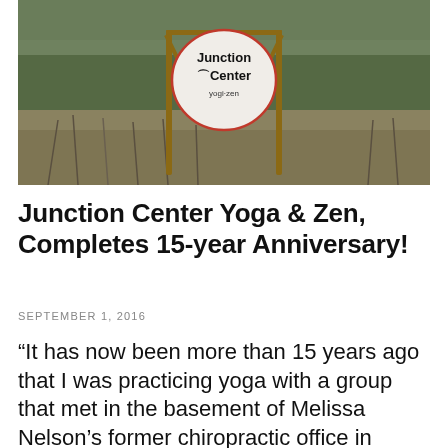[Figure (photo): Outdoor photograph of a wooden sign structure with a circular sign reading 'Junction Center yogi-zen' surrounded by wild grasses and trees in the background.]
Junction Center Yoga & Zen, Completes 15-year Anniversary!
SEPTEMBER 1, 2016
“It has now been more than 15 years ago that I was practicing yoga with a group that met in the basement of Melissa Nelson’s former chiropractic office in Sturgeon Bay.” – Kathy Navis